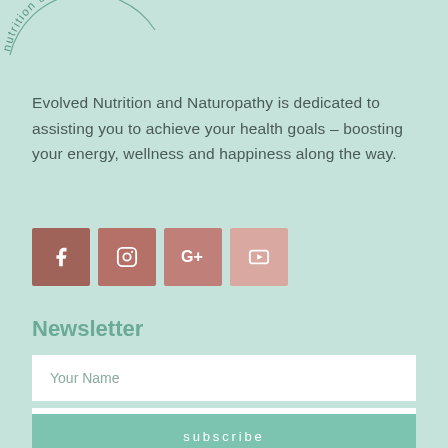[Figure (logo): Circular logo with text 'nutrition & natur...' curved around the top, partial view at top-left corner]
Evolved Nutrition and Naturopathy is dedicated to assisting you to achieve your health goals – boosting your energy, wellness and happiness along the way.
[Figure (infographic): Four social media icon buttons in a row: Facebook (dark terracotta), Instagram (medium terracotta), Google+ (light terracotta), YouTube (pale pink)]
Newsletter
Your Name
Your Email
subscribe